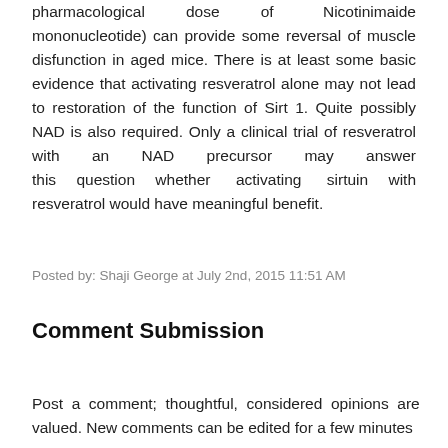pharmacological dose of Nicotinimaide mononucleotide) can provide some reversal of muscle disfunction in aged mice. There is at least some basic evidence that activating resveratrol alone may not lead to restoration of the function of Sirt 1. Quite possibly NAD is also required. Only a clinical trial of resveratrol with an NAD precursor may answer this question whether activating sirtuin with resveratrol would have meaningful benefit.
Posted by: Shaji George at July 2nd, 2015 11:51 AM
Comment Submission
Post a comment; thoughtful, considered opinions are valued. New comments can be edited for a few minutes